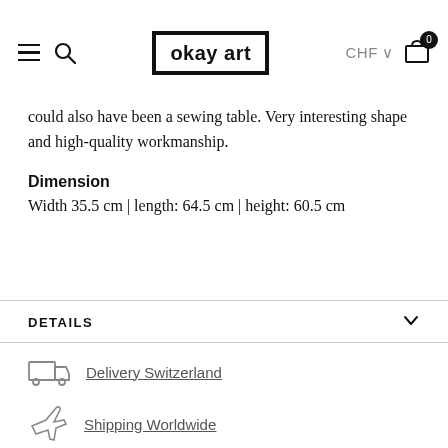okay art | CHF | 0
could also have been a sewing table. Very interesting shape and high-quality workmanship.
Dimension
Width 35.5 cm | length: 64.5 cm | height: 60.5 cm
DETAILS
Delivery Switzerland
Shipping Worldwide